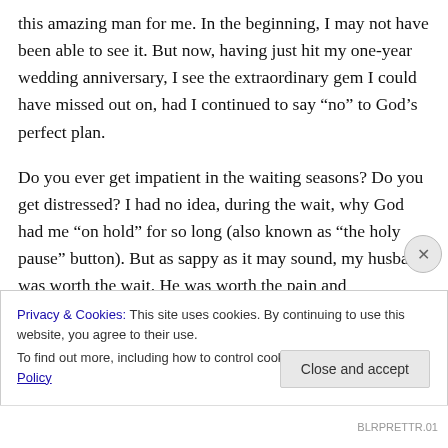this amazing man for me. In the beginning, I may not have been able to see it. But now, having just hit my one-year wedding anniversary, I see the extraordinary gem I could have missed out on, had I continued to say “no” to God’s perfect plan.
Do you ever get impatient in the waiting seasons? Do you get distressed? I had no idea, during the wait, why God had me “on hold” for so long (also known as “the holy pause” button). But as sappy as it may sound, my husband was worth the wait. He was worth the pain and
Privacy & Cookies: This site uses cookies. By continuing to use this website, you agree to their use.
To find out more, including how to control cookies, see here: Cookie Policy
Close and accept
BLRPRETTR.01